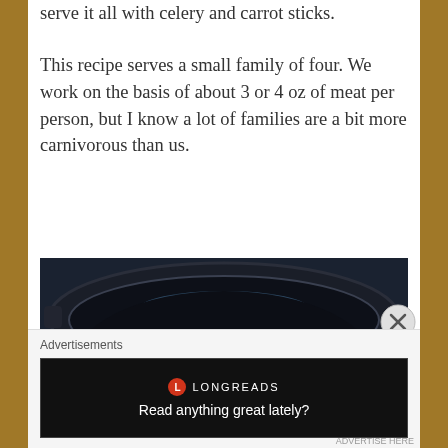serve it all with celery and carrot sticks.
This recipe serves a small family of four. We work on the basis of about 3 or 4 oz of meat per person, but I know a lot of families are a bit more carnivorous than us.
[Figure (photo): A slow cooker or crockpot shot from above, dark interior, with a piece of seasoned meat visible at the bottom.]
Advertisements
[Figure (other): Longreads advertisement banner with logo and tagline 'Read anything great lately?']